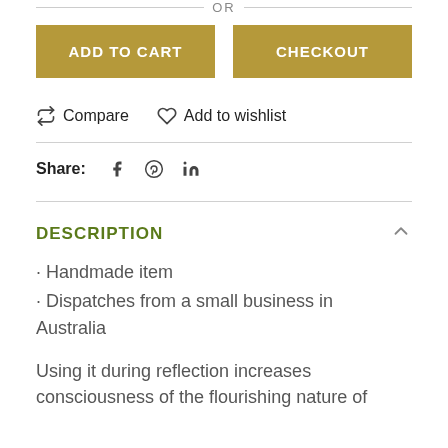— OR —
[Figure (other): Two buttons: ADD TO CART and CHECKOUT, gold/tan background, white uppercase text]
Compare   Add to wishlist
Share:  f  (pinterest)  in
DESCRIPTION
Handmade item
Dispatches from a small business in Australia
Using it during reflection increases consciousness of the flourishing nature of